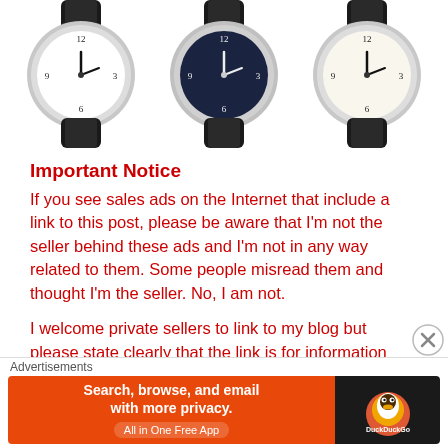[Figure (photo): Three analog wristwatches with black leather straps shown side by side, partially cropped at top. Left watch has white dial, middle has dark blue/black dial, right has white/cream dial.]
Important Notice
If you see sales ads on the Internet that include a link to this post, please be aware that I'm not the seller behind these ads and I'm not in any way related to them. Some people misread them and thought I'm the seller. No, I am not.
I welcome private sellers to link to my blog but please state clearly that the link is for information only. Thank you.
[Figure (screenshot): DuckDuckGo advertisement banner: orange background on left with text 'Search, browse, and email with more privacy. All in One Free App', and dark background on right with DuckDuckGo duck logo.]